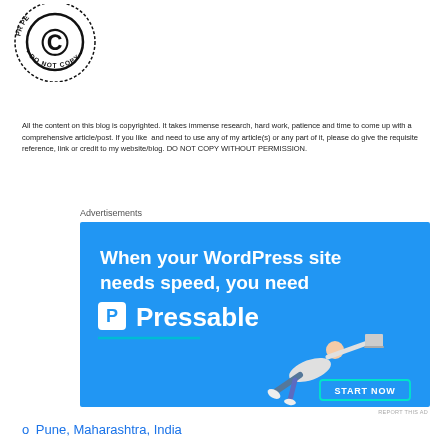[Figure (logo): Copyright 'Do Not Copy' circular stamp logo with a large C in a circle and text around the border reading 'DO NOT COPY']
All the content on this blog is copyrighted. It takes immense research, hard work, patience and time to come up with a comprehensive article/post. If you like and need to use any of my article(s) or any part of it, please do give the requisite reference, link or credit to my website/blog. DO NOT COPY WITHOUT PERMISSION.
Advertisements
[Figure (screenshot): Pressable WordPress hosting advertisement banner with blue background. Text reads 'When your WordPress site needs speed, you need Pressable' with a P logo, a green underline, a man flying horizontally holding a laptop, and a START NOW button.]
REPORT THIS AD
Pune, Maharashtra, India